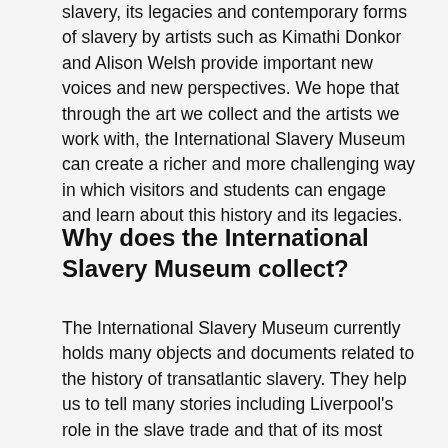Artistic responses to the history of transatlantic slavery, its legacies and contemporary forms of slavery by artists such as Kimathi Donkor and Alison Welsh provide important new voices and new perspectives. We hope that through the art we collect and the artists we work with, the International Slavery Museum can create a richer and more challenging way in which visitors and students can engage and learn about this history and its legacies.
Why does the International Slavery Museum collect?
The International Slavery Museum currently holds many objects and documents related to the history of transatlantic slavery. They help us to tell many stories including Liverpool's role in the slave trade and that of its most prominent merchant families. Because we understand the deep and